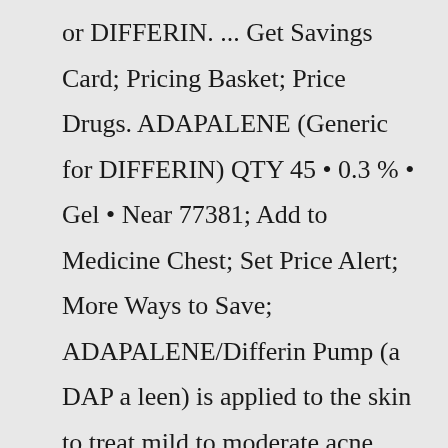or DIFFERIN. ... Get Savings Card; Pricing Basket; Price Drugs. ADAPALENE (Generic for DIFFERIN) QTY 45 • 0.3 % • Gel • Near 77381; Add to Medicine Chest; Set Price Alert; More Ways to Save; ADAPALENE/Differin Pump (a DAP a leen) is applied to the skin to treat mild to moderate acne. Add to Med Chest ...Acne Treatment Differin Gel, 30 Day Supply, Retinoid Treatment for Face with 0.1%